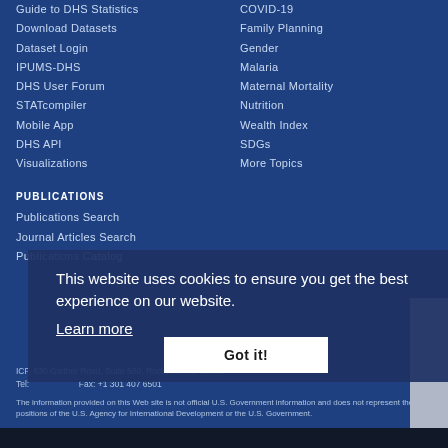Guide to DHS Statistics
Download Datasets
Dataset Login
IPUMS-DHS
DHS User Forum
STATcompiler
Mobile App
DHS API
Visualizations
COVID-19
Family Planning
Gender
Malaria
Maternal Mortality
Nutrition
Wealth Index
SDGs
More Topics
PUBLICATIONS
Publications Search
Journal Articles Search
Publications Catalog
ICF, 530 Gaither Road, Suite 500, Rockville, MD 20850
Tel: ... Fax: +1 301 407 6501
The information provided on this Web site is not official U.S. Government information and does not represent the views or positions of the U.S. Agency for International Development or the U.S. Government.
This website uses cookies to ensure you get the best experience on our website.
Learn more
Got it!